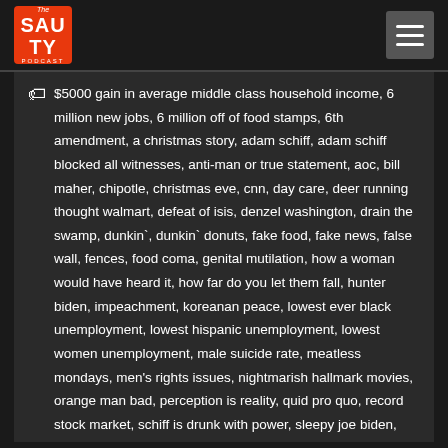The Sauty Podcast
$5000 gain in average middle class household income, 6 million new jobs, 6 million off of food stamps, 6th amendment, a christmas story, adam schiff, adam schiff blocked all witnesses, anti-man or true statement, aoc, bill maher, chipotle, christmas eve, cnn, day care, deer running thought walmart, defeat of isis, denzel washington, drain the swamp, dunkin`, dunkin` donuts, fake food, fake news, false wall, fences, food coma, genital mutilation, how a woman would have heard it, how far do you let them fall, hunter biden, impeachment, koreanan peace, lowest ever black unemployment, lowest hispanic unemployment, lowest women unemployment, male suicide rate, meatless mondays, men's rights issues, nightmarish hallmark movies, orange man bad, perception is reality, quid pro quo, record stock market, schiff is drunk with power, sleepy joe biden, south korean fake funerals fake crying, swamp monster, ted talk, the gentlewoman will suspend, they hate trump more than they love this country, they wanted a women in the white house, this is my responsibility, tough love, ukraine, vegans, war crimes